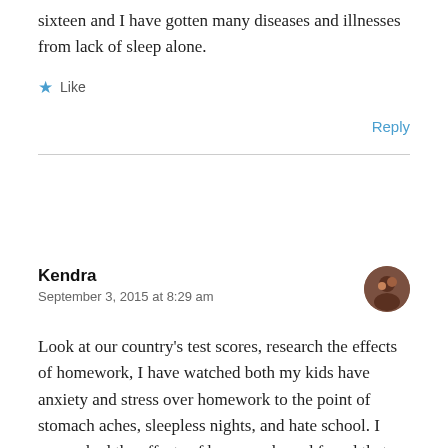sixteen and I have gotten many diseases and illnesses from lack of sleep alone.
Like
Reply
Kendra
September 3, 2015 at 8:29 am
Look at our country's test scores, research the effects of homework, I have watched both my kids have anxiety and stress over homework to the point of stomach aches, sleepless nights, and hate school. I researched the effects of homework, and found that most kids in this country are experiencing the same effects resulting in lower grades. when you take away homework, the